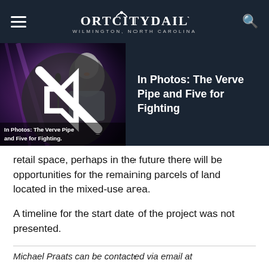PORT CITY DAILY — WILMINGTON, NORTH CAROLINA
[Figure (screenshot): Promotional banner showing a concert photo with a male singer at a microphone, purple stage lighting, with overlay text 'In Photos: The Verve Pipe and Five for Fighting' and a mute/no-sound icon in the top-left corner]
retail space, perhaps in the future there will be opportunities for the remaining parcels of land located in the mixed-use area.
A timeline for the start date of the project was not presented.
Michael Praats can be contacted via email at